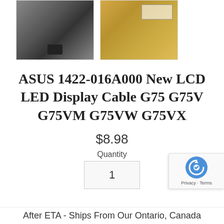[Figure (photo): Two product images: left shows a laptop LCD cable connector (dark metallic); right shows a cable with tape/label and barcode on packaging]
ASUS 1422-016A000 New LCD LED Display Cable G75 G75V G75VM G75VW G75VX
$8.98
Quantity
1
[Figure (logo): reCAPTCHA badge with Privacy - Terms text]
After ETA - Ships From Our Ontario, Canada